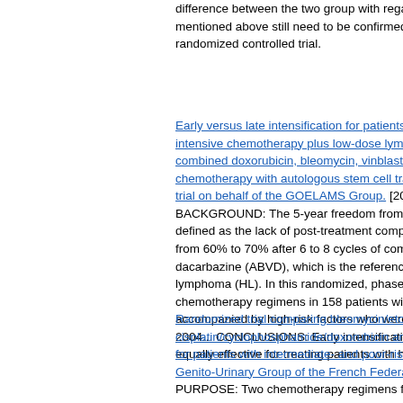difference between the two group with regard mentioned above still need to be confirmed b randomized controlled trial.
Early versus late intensification for patients w intensive chemotherapy plus low-dose lymph combined doxorubicin, bleomycin, vinblastin chemotherapy with autologous stem cell tra trial on behalf of the GOELAMS Group. [200 BACKGROUND: The 5-year freedom from tr defined as the lack of post-treatment comple from 60% to 70% after 6 to 8 cycles of comb dacarbazine (ABVD), which is the reference lymphoma (HL). In this randomized, phase 2 chemotherapy regimens in 158 patients with accompanied by high-risk factors who were n 2004... CONCLUSIONS: Early intensificatio equally effective for treating patients with hig
Randomized trial comparing bleomycin/etop cisplatin/cyclophosphamide/doxorubicin and for patients with intermediate- and poor-risk Genito-Urinary Group of the French Federati PURPOSE: Two chemotherapy regimens fo nonseminomatous germ cell tumors were co